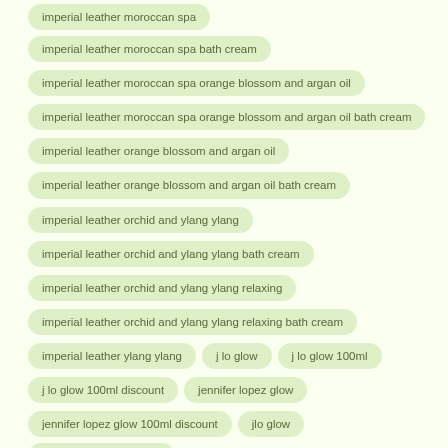imperial leather moroccan spa
imperial leather moroccan spa bath cream
imperial leather moroccan spa orange blossom and argan oil
imperial leather moroccan spa orange blossom and argan oil bath cream
imperial leather orange blossom and argan oil
imperial leather orange blossom and argan oil bath cream
imperial leather orchid and ylang ylang
imperial leather orchid and ylang ylang bath cream
imperial leather orchid and ylang ylang relaxing
imperial leather orchid and ylang ylang relaxing bath cream
imperial leather ylang ylang
j lo glow
j lo glow 100ml
j lo glow 100ml discount
jennifer lopez glow
jennifer lopez glow 100ml discount
jlo glow
jlo glow 100ml discount